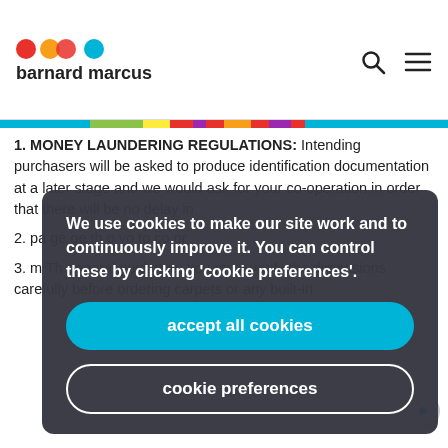barnard marcus
1. MONEY LAUNDERING REGULATIONS: Intending purchasers will be asked to produce identification documentation at a later stage and we would ask for your co-operation in order that there will be no delay in
2. [partially obscured] pa ge ge th o yo to co pr
3. [partially obscured] m Th general guidance. You must verify the dimensions carefully before ordering carpets or any built-in
We use cookies to make our site work and to continuously improve it. You can control these by clicking 'cookie preferences'.